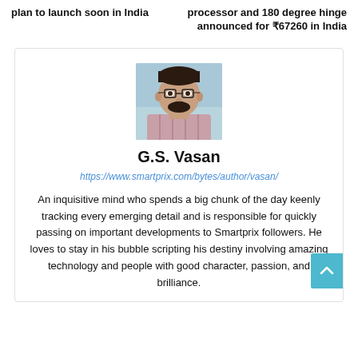plan to launch soon in India
processor and 180 degree hinge announced for ₹67260 in India
[Figure (photo): Portrait photo of G.S. Vasan, a young man with glasses and a beard wearing a checkered shirt, photographed outdoors.]
G.S. Vasan
https://www.smartprix.com/bytes/author/vasan/
An inquisitive mind who spends a big chunk of the day keenly tracking every emerging detail and is responsible for quickly passing on important developments to Smartprix followers. He loves to stay in his bubble scripting his destiny involving amazing technology and people with good character, passion, and brilliance.